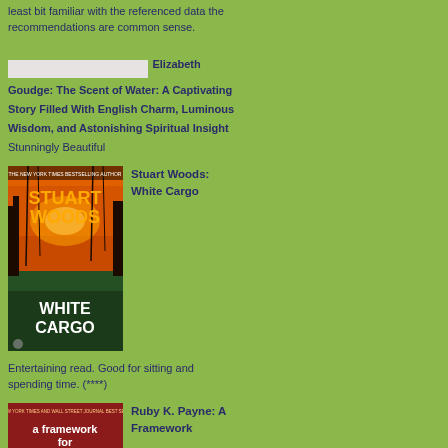least bit familiar with the referenced data the recommendations are common sense.
Elizabeth Goudge: The Scent of Water: A Captivating Story Filled With English Charm, Luminous Wisdom, and Astonishing Spiritual Insight Stunningly Beautiful
[Figure (photo): Book cover: Stuart Woods White Cargo]
Stuart Woods: White Cargo
Entertaining read. Good for sitting and spending time. (****)
[Figure (photo): Book cover: Ruby K. Payne A Framework for...]
Ruby K. Payne: A Framework
[Figure (other): Blue vertical bar decorative element, top portion]
[Figure (photo): Partial book cover visible in center right column]
[Figure (other): Blue vertical bar decorative element, bottom portion]
A